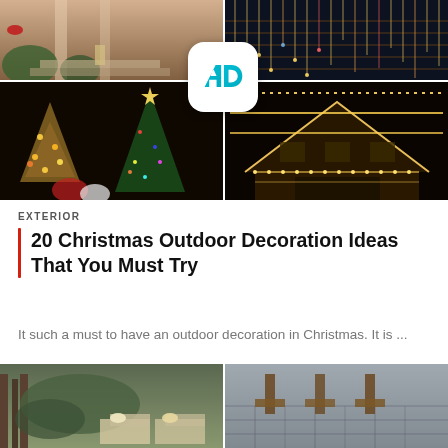[Figure (photo): 2x2 grid of Christmas outdoor decoration photos: top-left shows decorated porch with greenery and lantern; top-right shows hanging icicle lights against dark background; bottom-left shows illuminated Christmas trees with warm golden lights; bottom-right shows house exterior outlined with warm white string lights at night. An AD badge logo is overlaid in the center.]
EXTERIOR
20 Christmas Outdoor Decoration Ideas That You Must Try
It such a must to have an outdoor decoration in Christmas. It is ...
[Figure (photo): Two partial images at bottom: left shows an outdoor garden/patio seating area with green foliage and cushioned chairs; right shows a paved patio or walkway with wooden furniture.]